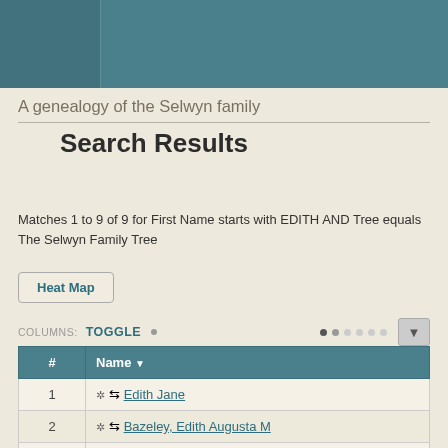A genealogy of the Selwyn family
Search Results
Matches 1 to 9 of 9 for First Name starts with EDITH AND Tree equals The Selwyn Family Tree
| # | Name |
| --- | --- |
| 1 | Edith Jane |
| 2 | Bazeley, Edith Augusta M |
| 3 | Bennet, Edith |